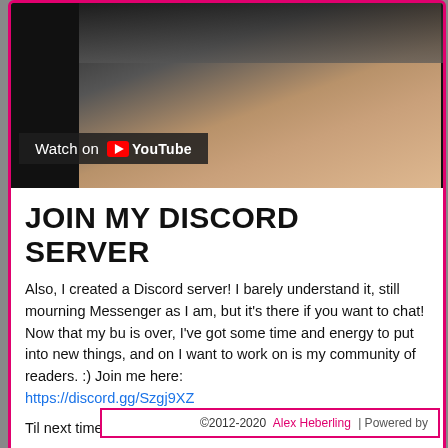[Figure (screenshot): YouTube embedded video thumbnail showing a hand near a white surface, with 'Watch on YouTube' overlay bar at bottom left]
JOIN MY DISCORD SERVER
Also, I created a Discord server! I barely understand it, still mourning Messenger as I am, but it's there if you want to chat! Now that my bu is over, I've got some time and energy to put into new things, and on I want to work on is my community of readers. :) Join me here: https://discord.gg/Szgj9XZ
Til next time!
Tags: announcements, comiquecon, conventions, schedule
©2012-2020 Alex Heberling | Powered by